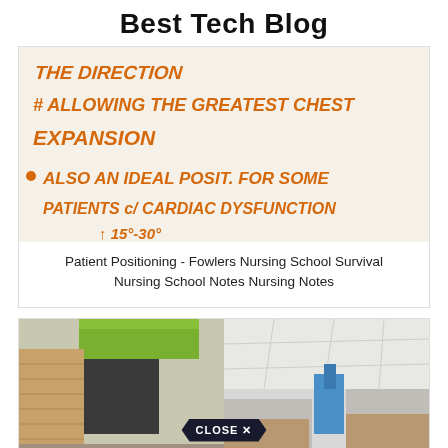Best Tech Blog
[Figure (photo): Whiteboard with handwritten orange text about patient positioning: 'ALLOWING THE GREATEST CHEST EXPANSION' and 'ALSO AN IDEAL POSIT. FOR SOME PATIENTS c/ CARDIAC DYSFUNCTION']
Patient Positioning - Fowlers Nursing School Survival Nursing School Notes Nursing Notes
[Figure (photo): Two side-by-side images of a medical facility interior: left shows green and wood-paneled wall construction, right shows a hospital corridor ceiling with medical equipment]